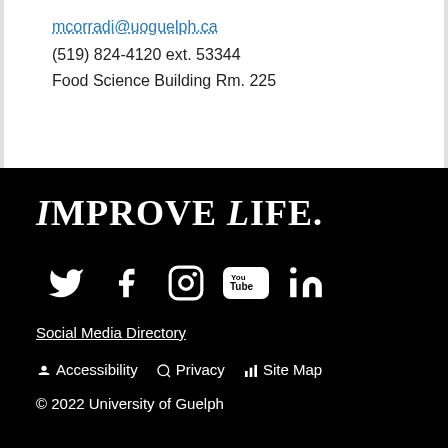mcorradi@uoguelph.ca
(519) 824-4120 ext. 53344
Food Science Building Rm. 225
Improve Life.
[Figure (infographic): Social media icons: Twitter, Facebook, Instagram, YouTube, LinkedIn]
Social Media Directory
♿ Accessibility  🔑 Privacy  📊 Site Map
© 2022 University of Guelph